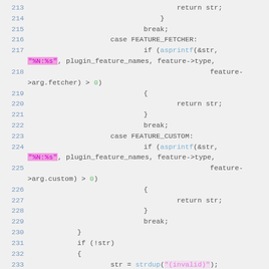Code listing lines 213-233 showing C source code with syntax highlighting